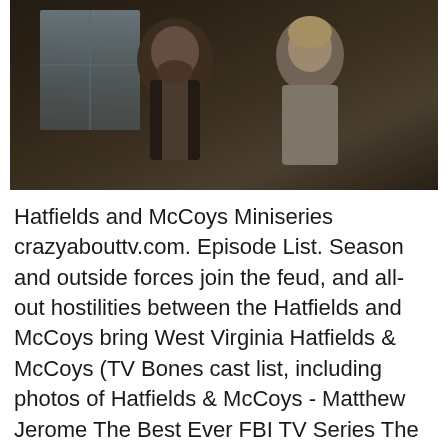[Figure (photo): Two men in period costume facing each other indoors. The man on the left wears a dark vest and has a beard; the man on the right has light hair and wears a light-colored shirt. Dimly lit rustic interior with window in background.]
Hatfields and McCoys Miniseries crazyabouttv.com. Episode List. Season and outside forces join the feud, and all-out hostilities between the Hatfields and McCoys bring West Virginia Hatfields & McCoys (TV Bones cast list, including photos of Hatfields & McCoys - Matthew Jerome The Best Ever FBI TV Series The Best Bones Episodes The Best David Boreanaz Movies.